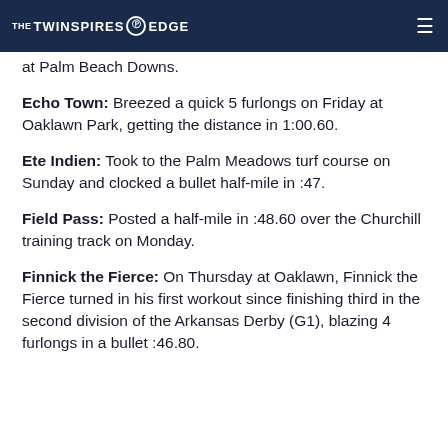THE TWINSPIRES @ EDGE
at Palm Beach Downs.
Echo Town: Breezed a quick 5 furlongs on Friday at Oaklawn Park, getting the distance in 1:00.60.
Ete Indien: Took to the Palm Meadows turf course on Sunday and clocked a bullet half-mile in :47.
Field Pass: Posted a half-mile in :48.60 over the Churchill training track on Monday.
Finnick the Fierce: On Thursday at Oaklawn, Finnick the Fierce turned in his first workout since finishing third in the second division of the Arkansas Derby (G1), blazing 4 furlongs in a bullet :46.80.